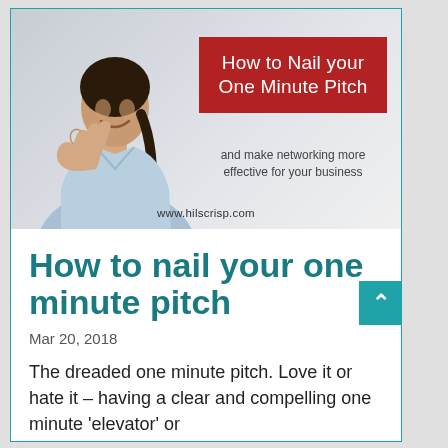[Figure (photo): Promotional image showing a smiling woman with a thumbs up gesture, wearing a light blue shirt, with a red box overlay reading 'How to Nail your One Minute Pitch' and subtitle 'and make networking more effective for your business'. URL www.hilscrisp.com shown at bottom.]
How to nail your one minute pitch
Mar 20, 2018
The dreaded one minute pitch. Love it or hate it – having a clear and compelling one minute 'elevator' or